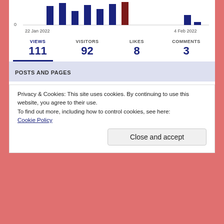[Figure (bar-chart): Partial bar chart showing views from 22 Jan 2022 to 4 Feb 2022 with navy and dark red bars]
| VIEWS | VISITORS | LIKES | COMMENTS |
| --- | --- | --- | --- |
| 111 | 92 | 8 | 3 |
POSTS AND PAGES
| Title | Views |
| --- | --- |
| Home page / Archives | 79 |
My Site | Reader | Notifications
Privacy & Cookies: This site uses cookies. By continuing to use this website, you agree to their use.
To find out more, including how to control cookies, see here:
Cookie Policy
Close and accept